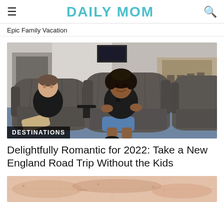≡  DAILY MOM  🔍
Epic Family Vacation
[Figure (photo): A man and woman sitting in grey quilted leather lounge chairs in an upscale airport lounge or hotel lobby area, smiling at the camera. Blue patterned carpet, bar area visible in background.]
DESTINATIONS
Delightfully Romantic for 2022: Take a New England Road Trip Without the Kids
[Figure (photo): Partial view of a vintage-style map in pink/rose tones.]